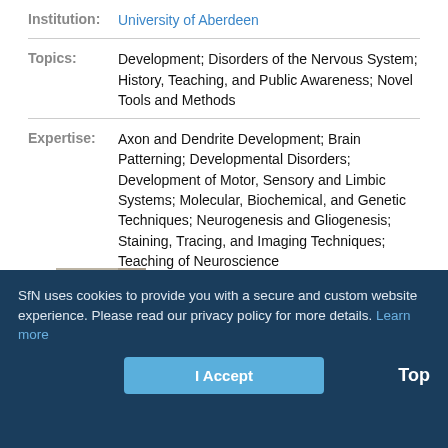Institution: University of Aberdeen
Topics: Development; Disorders of the Nervous System; History, Teaching, and Public Awareness; Novel Tools and Methods
Expertise: Axon and Dendrite Development; Brain Patterning; Developmental Disorders; Development of Motor, Sensory and Limbic Systems; Molecular, Biochemical, and Genetic Techniques; Neurogenesis and Gliogenesis; Staining, Tracing, and Imaging Techniques; Teaching of Neuroscience
Editor: Christie Fowler
[Figure (photo): Photo of Christie Fowler, a woman with brown hair]
SfN uses cookies to provide you with a secure and custom website experience. Please read our privacy policy for more details. Learn more
I Accept